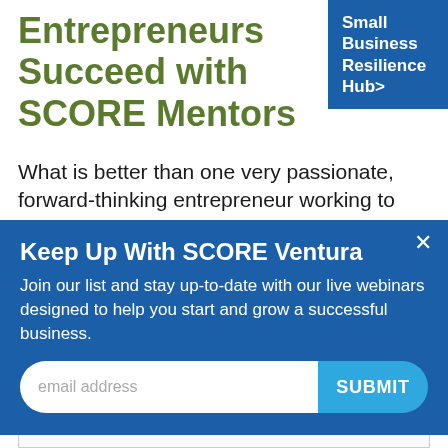Entrepreneurs Succeed with SCORE Mentors
[Figure (other): Blue button/badge: Small Business Resilience Hub>]
What is better than one very passionate, forward-thinking entrepreneur working to make a business highly successful? How about two very passionate,
[Figure (other): Modal popup: Keep Up With SCORE Ventura. Join our list and stay up-to-date with our live webinars designed to help you start and grow a successful business. Email address input and SUBMIT button.]
See how SCORE mentors have made a difference for other small business owners like you.